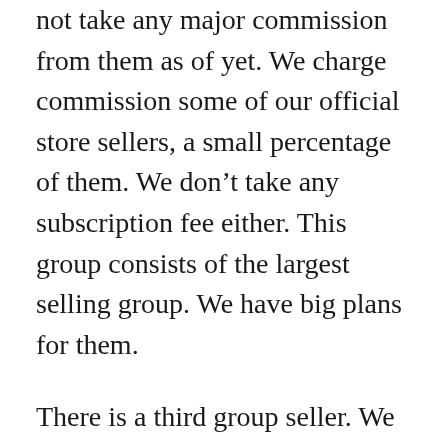not take any major commission from them as of yet. We charge commission some of our official store sellers, a small percentage of them. We don't take any subscription fee either. This group consists of the largest selling group. We have big plans for them.
There is a third group seller. We do not take any commission from them and nor do we control. They are unofficial sellers. They need to have a physical shop and a Facebook page which he must be running for a certain period. We permit them to open up a shop here. We do not give any product guarantee